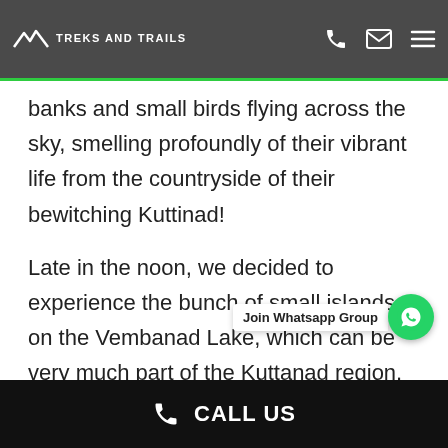TREKS AND TRAILS
skies, which meant we can now begin sailing through the backwaters region. You will find such fishing nets the regional fishermen, the flock of ducks swimming across the banks and small birds flying across the sky, smelling profoundly of their vibrant life from the countryside of their bewitching Kuttinad!
Late in the noon, we decided to experience the bunch of small islands on the Vembanad Lake, which can be very much part of the Kuttanad region. We have been advised the ideal way to observe the birds of the Kumarakom sanctuary is a boat excursion. But we did not have sufficient time for the boat trip but researched to our complete the lush greenery of a
[Figure (other): Join Whatsapp Group button with WhatsApp icon]
CALL US